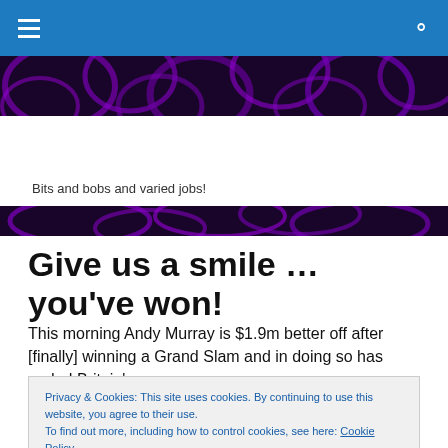[Figure (screenshot): Blue navigation bar with hamburger menu icon and search icon]
[Figure (illustration): Purple abstract swirling roses banner image, top portion]
Bits and bobs and varied jobs!
[Figure (illustration): Purple abstract swirling roses banner image, bottom portion]
Give us a smile … you've won!
This morning Andy Murray is $1.9m better off after [finally] winning a Grand Slam and in doing so has ended Britain's
Privacy & Cookies: This site uses cookies. By continuing to use this website, you agree to their use.
To find out more, including how to control cookies, see here: Cookie Policy
the world number two and defending champion makes him